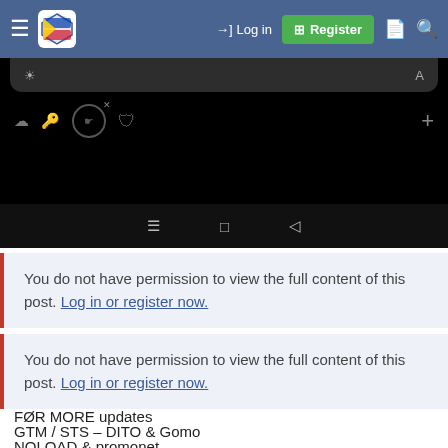Log in | Register
[Figure (screenshot): Android phone browser screenshot showing browser chrome with icons, a dark mode browser tab bar with cloud, key, and shield icons, and the Android navigation bar with menu, home, and back buttons at the bottom.]
You do not have permission to view the full content of this post. Log in or register now.
You do not have permission to view the full content of this post. Log in or register now.
FØR MORE updates
GTM / STS – DITO & Gomo
NOLOAD & promonet